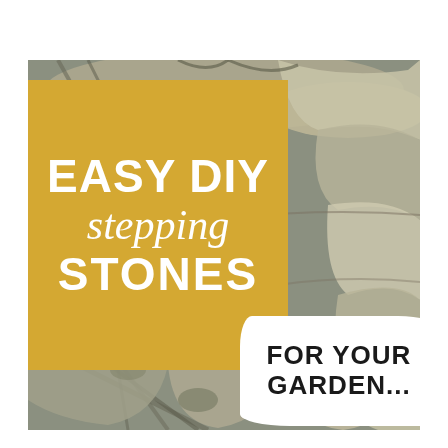[Figure (photo): Background photo of natural stone pavers/stepping stones arranged in a decorative pattern, showing grey, beige, and earthy toned flat stones with visible textures and joints.]
EASY DIY stepping STONES FOR YOUR GARDEN...